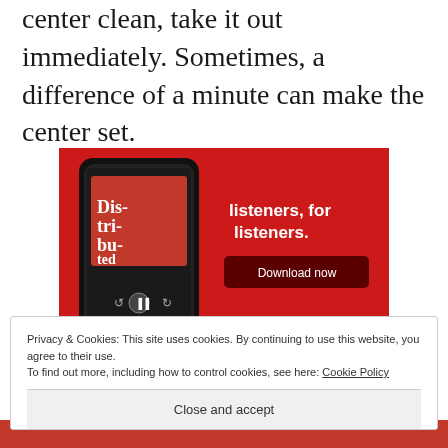center clean, take it out immediately. Sometimes, a difference of a minute can make the center set.
[Figure (photo): Advertisement image showing a smartphone displaying a podcast app with 'Dis-tri-bu-ted' text, on a red background with text 'listeners, for listeners.' and a 'Download now' button]
Privacy & Cookies: This site uses cookies. By continuing to use this website, you agree to their use.
To find out more, including how to control cookies, see here: Cookie Policy
Close and accept